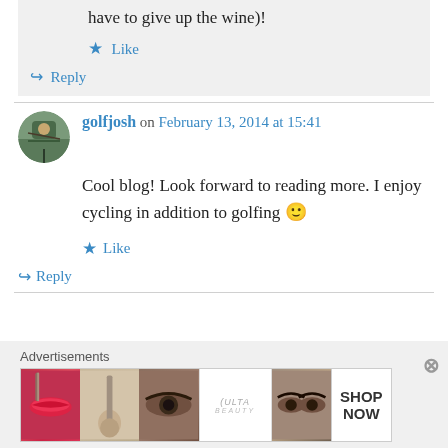have to give up the wine)!
★ Like
↪ Reply
golfjosh on February 13, 2014 at 15:41
Cool blog! Look forward to reading more. I enjoy cycling in addition to golfing 🙂
★ Like
↪ Reply
Advertisements
[Figure (other): ULTA beauty advertisement banner with makeup images and SHOP NOW button]